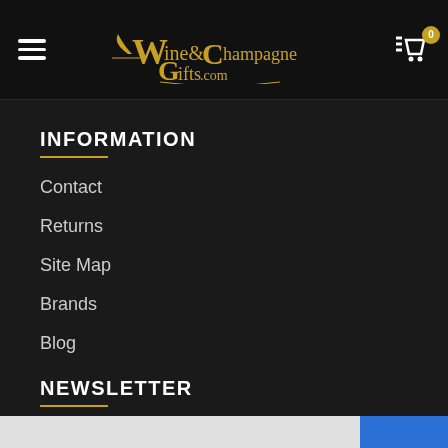Wine & Champagne Gifts .com — navigation header with hamburger menu and cart
INFORMATION
Contact
Returns
Site Map
Brands
Blog
NEWSLETTER
Don't miss any updates or promotions by our newsletter.